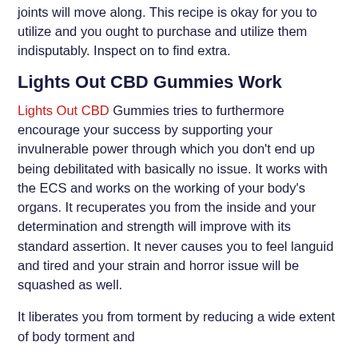joints will move along. This recipe is okay for you to utilize and you ought to purchase and utilize them indisputably. Inspect on to find extra.
Lights Out CBD Gummies Work
Lights Out CBD Gummies tries to furthermore encourage your success by supporting your invulnerable power through which you don't end up being debilitated with basically no issue. It works with the ECS and works on the working of your body's organs. It recuperates you from the inside and your determination and strength will improve with its standard assertion. It never causes you to feel languid and tired and your strain and horror issue will be squashed as well.
It liberates you from torment by reducing a wide extent of body torment and